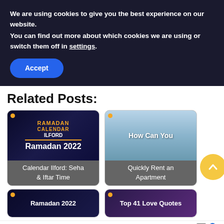We are using cookies to give you the best experience on our website.
You can find out more about which cookies we are using or switch them off in settings.
Accept
Related Posts:
[Figure (photo): Ramadan 2022 Calendar Ilford: Sehar & Iftar Time card thumbnail]
[Figure (photo): How Can You Quickly Rent an Apartment card thumbnail]
[Figure (photo): Ramadan 2022 card thumbnail (partially visible)]
[Figure (photo): Top 41 Love Quotes card thumbnail (partially visible)]
Search for | Business Focus
1.  TOP STOCKS TO BUY